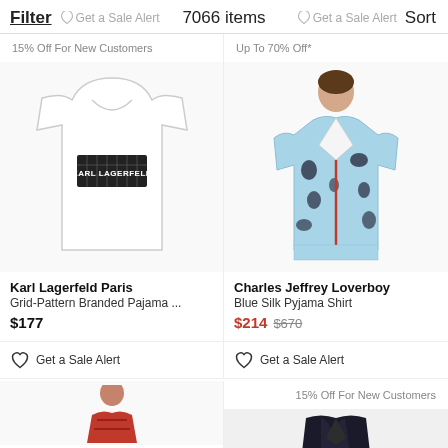Filter  7066 items  Get a Sale Alert  Sort
15% Off For New Customers
[Figure (photo): White Karl Lagerfeld Paris t-shirt with black grid-pattern branded logo box on chest]
Karl Lagerfeld Paris
Grid-Pattern Branded Pajama ...
$177
Get a Sale Alert
Up To 70% Off*
[Figure (photo): Model wearing blue silk pyjama shirt with black abstract pattern by Charles Jeffrey Loverboy]
Charles Jeffrey Loverboy
Blue Silk Pyjama Shirt
$214 $670
Get a Sale Alert
15% Off For New Customers
[Figure (photo): Partial view of a model wearing a red patterned garment, cropped at bottom of page]
[Figure (photo): Partial view of a dark navy/black satin robe or jacket, cropped at bottom of page]